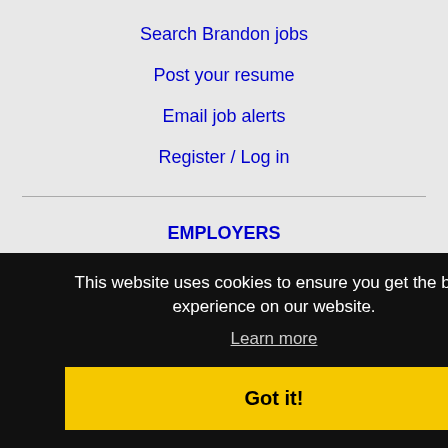Search Brandon jobs
Post your resume
Email job alerts
Register / Log in
EMPLOYERS
Post jobs
Search resumes
This website uses cookies to ensure you get the best experience on our website.
Learn more
Got it!